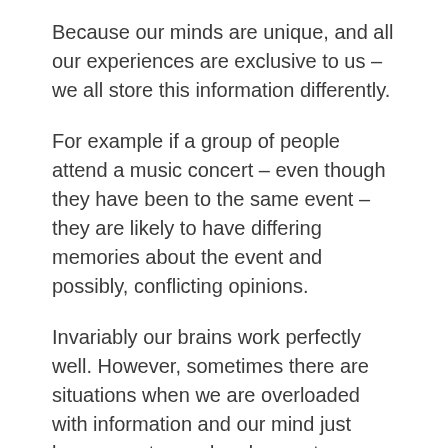Because our minds are unique, and all our experiences are exclusive to us – we all store this information differently.
For example if a group of people attend a music concert – even though they have been to the same event – they are likely to have differing memories about the event and possibly, conflicting opinions.
Invariably our brains work perfectly well. However, sometimes there are situations when we are overloaded with information and our mind just becomes stressed and cannot cope. We suffer from overwhelm and lose perspective – and it is at these times that we might lose our temper or